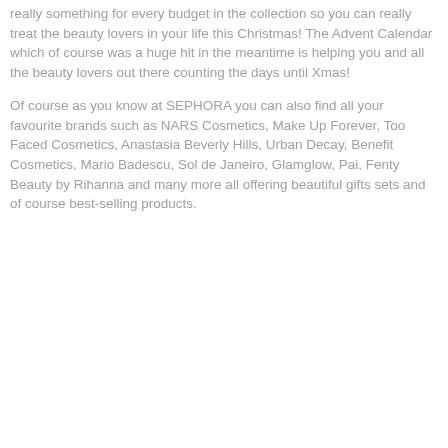really something for every budget in the collection so you can really treat the beauty lovers in your life this Christmas! The Advent Calendar which of course was a huge hit in the meantime is helping you and all the beauty lovers out there counting the days until Xmas!
Of course as you know at SEPHORA you can also find all your favourite brands such as NARS Cosmetics, Make Up Forever, Too Faced Cosmetics, Anastasia Beverly Hills, Urban Decay, Benefit Cosmetics, Mario Badescu, Sol de Janeiro, Glamglow, Pai, Fenty Beauty by Rihanna and many more all offering beautiful gifts sets and of course best-selling products.